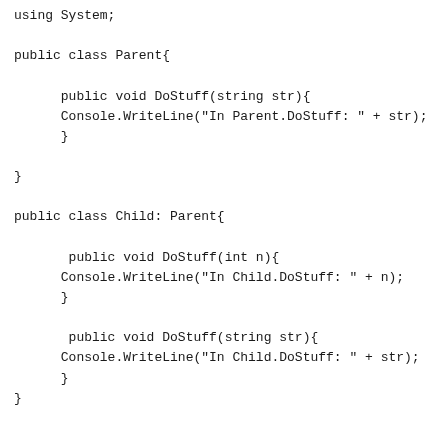using System;

public class Parent{

      public void DoStuff(string str){
      Console.WriteLine("In Parent.DoStuff: " + str);
      }

}

public class Child: Parent{

       public void DoStuff(int n){
      Console.WriteLine("In Child.DoStuff: " + n);
      }

       public void DoStuff(string str){
      Console.WriteLine("In Child.DoStuff: " + str);
      }
}


public class VirtualTest{

      public static void Main(string[] args){

      Child ch = new Child();

      ch.DoStuff(100);
      ch.DoStuff("Test");